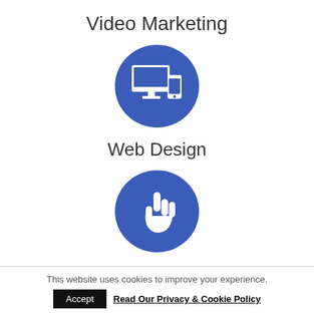Video Marketing
[Figure (illustration): Blue circle icon with a white desktop monitor and smartphone]
Web Design
[Figure (illustration): Blue circle icon with a white hand pointer/cursor]
This website uses cookies to improve your experience. Accept  Read Our Privacy & Cookie Policy